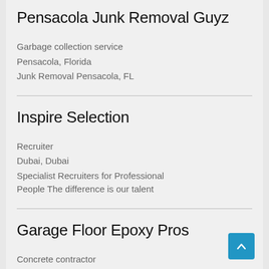Pensacola Junk Removal Guyz
Garbage collection service
Pensacola, Florida
Junk Removal Pensacola, FL
Inspire Selection
Recruiter
Dubai, Dubai
Specialist Recruiters for Professional People The difference is our talent
Garage Floor Epoxy Pros
Concrete contractor
New Haven, Indiana